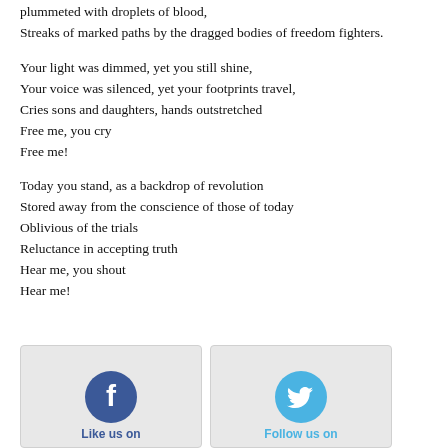plummeted with droplets of blood,
Streaks of marked paths by the dragged bodies of freedom fighters.
Your light was dimmed, yet you still shine,
Your voice was silenced, yet your footprints travel,
Cries sons and daughters, hands outstretched
Free me, you cry
Free me!
Today you stand, as a backdrop of revolution
Stored away from the conscience of those of today
Oblivious of the trials
Reluctance in accepting truth
Hear me, you shout
Hear me!
[Figure (infographic): Facebook 'Like us on' button icon and Twitter 'Follow us on' button icon side by side at the bottom of the page]